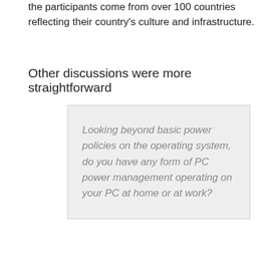the participants come from over 100 countries reflecting their country's culture and infrastructure.
Other discussions were more straightforward
Looking beyond basic power policies on the operating system, do you have any form of PC power management operating on your PC at home or at work?
[UPDATE – this question came from @karolinashaw, Public Relations Manager 1E]
There is plenty of discussion on water as well with people discussing the merits of water metering, water harvesting and town/city water policies.